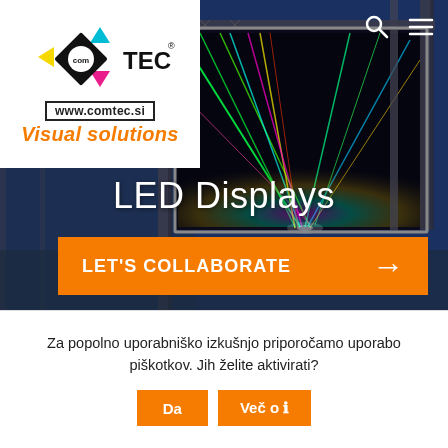[Figure (screenshot): ComTEC website screenshot showing LED Displays hero image with laser light show on a large outdoor LED screen mounted on scaffolding, dark blue night sky background]
[Figure (logo): ComTEC logo with diamond shape, cyan triangle top, magenta triangle bottom, yellow left triangle, black diamond center with 'com' text, 'TEC' text in black bold, registered trademark symbol, URL www.comtec.si in bordered box, 'Visual solutions' in orange italic script]
LED Displays
LET'S COLLABORATE →
Za popolno uporabniško izkušnjo priporočamo uporabo piškotkov. Jih želite aktivirati?
Da
Več o ℹ